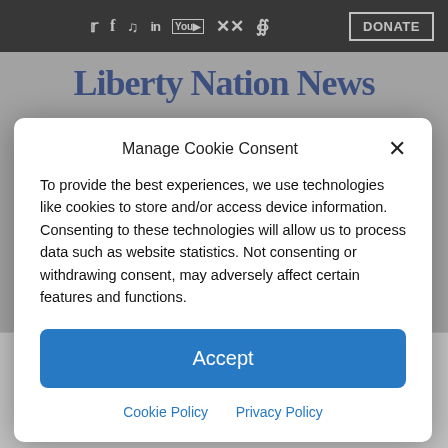Social icons: Twitter, Facebook, TikTok, LinkedIn, YouTube, Pinterest, RSS | DONATE
Liberty Nation News
Manage Cookie Consent
To provide the best experiences, we use technologies like cookies to store and/or access device information. Consenting to these technologies will allow us to process data such as website statistics. Not consenting or withdrawing consent, may adversely affect certain features and functions.
Accept
Cookie Policy  Privacy Policy
Trump is seeking to temporarily halt all immigration.
By: Mark Angelides |  April 21, 2020 - 7:05 am | Articles, Illegal Immigration, Opinion